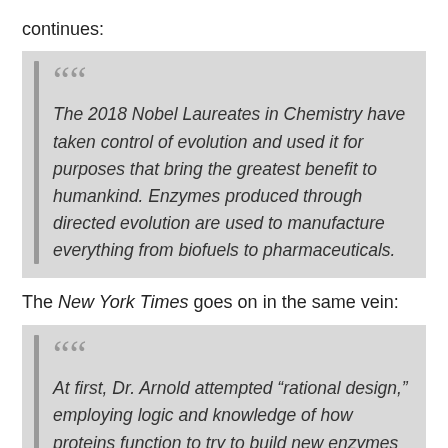continues:
The 2018 Nobel Laureates in Chemistry have taken control of evolution and used it for purposes that bring the greatest benefit to humankind. Enzymes produced through directed evolution are used to manufacture everything from biofuels to pharmaceuticals.
The New York Times goes on in the same vein:
At first, Dr. Arnold attempted “rational design,” employing logic and knowledge of how proteins function to try to build new enzymes — proteins